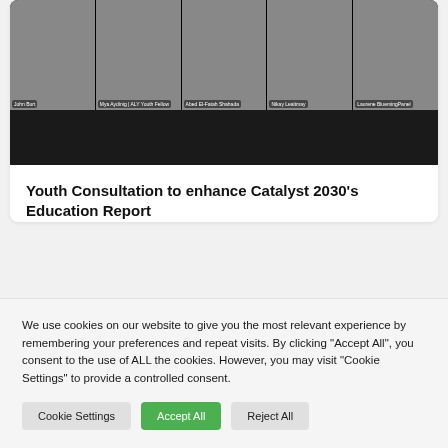[Figure (screenshot): Video conference screenshot showing five participant thumbnails with name tags at the bottom, followed by a dark background area below the thumbnails.]
Youth Consultation to enhance Catalyst 2030’s Education Report
We use cookies on our website to give you the most relevant experience by remembering your preferences and repeat visits. By clicking “Accept All”, you consent to the use of ALL the cookies. However, you may visit “Cookie Settings” to provide a controlled consent.